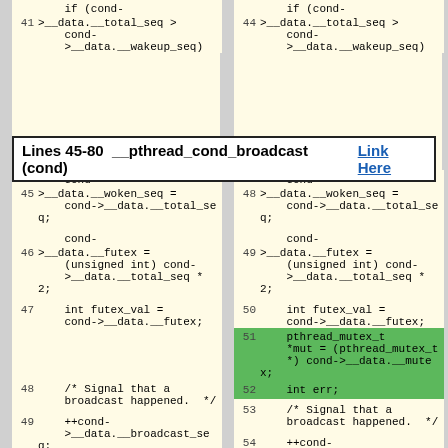[Figure (screenshot): Code diff showing two columns of C code for pthread_cond_broadcast function, lines 41-53 on left and lines 44-58 on right, with yellow background highlighting, green highlighting on lines 51-52 right column, and blue highlighting on lines 52/57.]
Lines 45-80  __pthread_cond_broadcast (cond)    Link Here